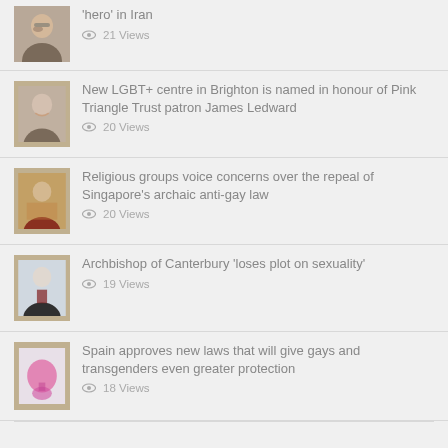'hero' in Iran — 21 Views
New LGBT+ centre in Brighton is named in honour of Pink Triangle Trust patron James Ledward — 20 Views
Religious groups voice concerns over the repeal of Singapore's archaic anti-gay law — 20 Views
Archbishop of Canterbury 'loses plot on sexuality' — 19 Views
Spain approves new laws that will give gays and transgenders even greater protection — 18 Views